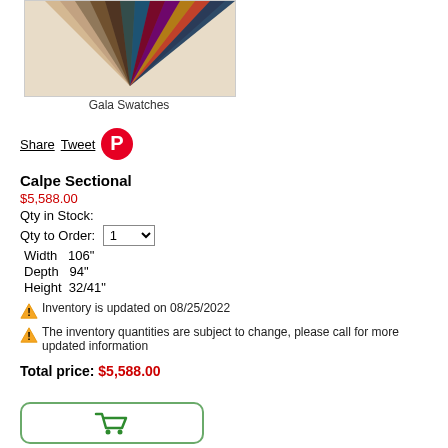[Figure (photo): Fan of fabric swatches in various colors including beige, brown, teal, burgundy, purple, and navy blue - Gala Swatches]
Gala Swatches
Share Tweet [Pinterest icon]
Calpe Sectional
$5,588.00
Qty in Stock:
Qty to Order: 1
Width   106"
Depth   94"
Height  32/41"
⚠ Inventory is updated on 08/25/2022
⚠ The inventory quantities are subject to change, please call for more updated information
Total price: $5,588.00